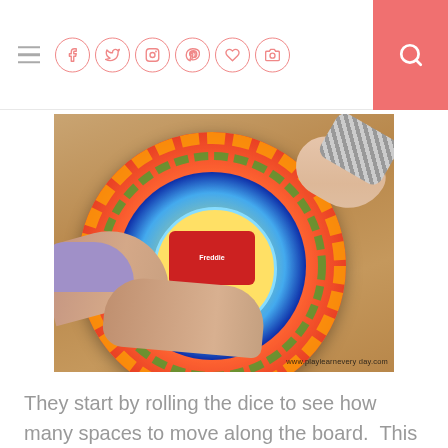Navigation header with hamburger menu, social icons (Facebook, Twitter, Instagram, Pinterest, Heart, Camera), and search button
[Figure (photo): Overhead view of people playing a colorful circular children's board game on a wooden floor. Multiple hands are visible reaching toward the board. The board features a spiral path with illustrated children characters. Watermark reads www.playlearnevery day.com]
They start by rolling the dice to see how many spaces to move along the board.  This is great for Ethan as he can count the dots on the dye and then count the spaces as well.  That movement of his piece coordinating